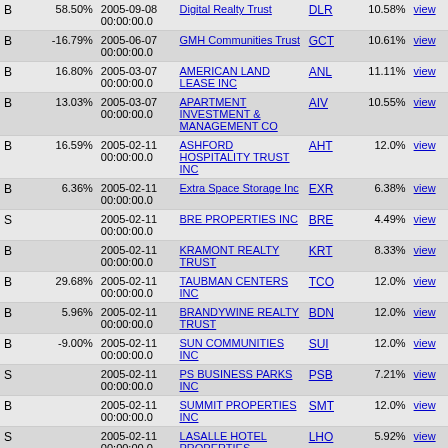| Type | Pct | Date | Name | Ticker | Yield | Action |
| --- | --- | --- | --- | --- | --- | --- |
| B | 58.50% | 2005-09-08 00:00:00.0 | Digital Realty Trust | DLR | 10.58% | view |
| B | -16.79% | 2005-06-07 00:00:00.0 | GMH Communities Trust | GCT | 10.61% | view |
| B | 16.80% | 2005-03-07 00:00:00.0 | AMERICAN LAND LEASE INC | ANL | 11.11% | view |
| B | 13.03% | 2005-03-07 00:00:00.0 | APARTMENT INVESTMENT & MANAGEMENT CO | AIV | 10.55% | view |
| B | 16.59% | 2005-02-11 00:00:00.0 | ASHFORD HOSPITALITY TRUST INC | AHT | 12.0% | view |
| B | 6.36% | 2005-02-11 00:00:00.0 | Extra Space Storage Inc | EXR | 6.38% | view |
| S |  | 2005-02-11 00:00:00.0 | BRE PROPERTIES INC | BRE | 4.49% | view |
| B |  | 2005-02-11 00:00:00.0 | KRAMONT REALTY TRUST | KRT | 8.33% | view |
| B | 29.68% | 2005-02-11 00:00:00.0 | TAUBMAN CENTERS INC | TCO | 12.0% | view |
| B | 5.96% | 2005-02-11 00:00:00.0 | BRANDYWINE REALTY TRUST | BDN | 12.0% | view |
| B | -9.00% | 2005-02-11 00:00:00.0 | SUN COMMUNITIES INC | SUI | 12.0% | view |
| S |  | 2005-02-11 00:00:00.0 | PS BUSINESS PARKS INC | PSB | 7.21% | view |
| B |  | 2005-02-11 00:00:00.0 | SUMMIT PROPERTIES INC | SMT | 12.0% | view |
| S |  | 2005-02-11 00:00:00.0 | LASALLE HOTEL PROPERTIES | LHO | 5.92% | view |
| B | 57.78% | 2005-02-11 00:00:00.0 | KILROY REALTY CORP | KRC | 5.67% | view |